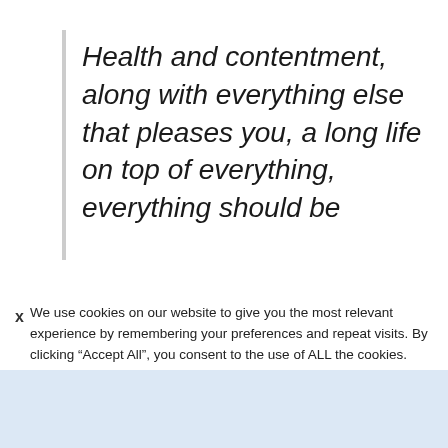Health and contentment, along with everything else that pleases you, a long life on top of everything, everything should be
We use cookies on our website to give you the most relevant experience by remembering your preferences and repeat visits. By clicking “Accept All”, you consent to the use of ALL the cookies. However, you may visit "Cookie Settings" to provide a
WHY I WEAR THE WHITE COAT
“To be an advocate for change”
Tyeler Checkley, RUSM Class of ’25
[Figure (photo): Photo of Tyeler Checkley in white coat on blue sky background, partially visible on right side of banner]